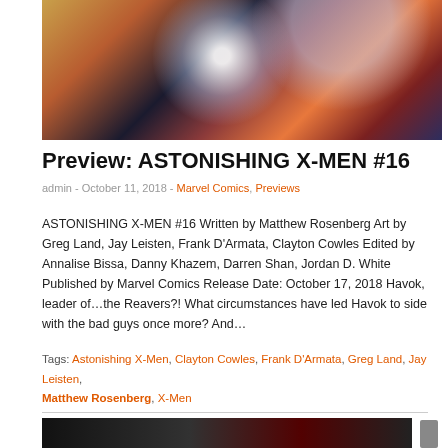[Figure (illustration): Comic book cover art for Astonishing X-Men #16, showing action scenes with characters in dark, orange, and blue tones with a glowing circular element]
Preview: ASTONISHING X-MEN #16
admin - October 11, 2018 - Marvel Comics, Previews
ASTONISHING X-MEN #16 Written by Matthew Rosenberg Art by Greg Land, Jay Leisten, Frank D'Armata, Clayton Cowles Edited by Annalise Bissa, Danny Khazem, Darren Shan, Jordan D. White Published by Marvel Comics Release Date: October 17, 2018 Havok, leader of…the Reavers?! What circumstances have led Havok to side with the bad guys once more? And…
Tags: Astonishing X-Men, Clayton Cowles, Frank D'Armata, Greg Land, Jay Leisten, Matthew Rosenberg, X-Men
[Figure (photo): Bottom partial image showing a dark scene, partially cropped at bottom of page]